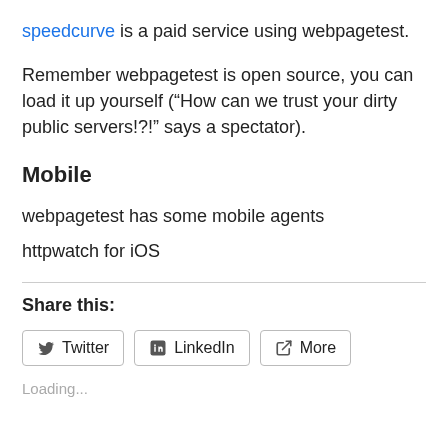speedcurve is a paid service using webpagetest.
Remember webpagetest is open source, you can load it up yourself (“How can we trust your dirty public servers!?!” says a spectator).
Mobile
webpagetest has some mobile agents
httpwatch for iOS
Share this:
[Figure (other): Share buttons: Twitter, LinkedIn, More]
Loading...